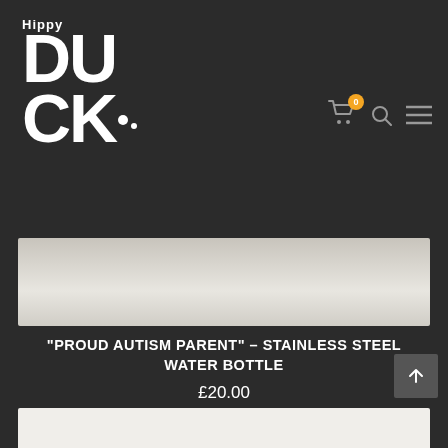[Figure (logo): Hippy Duck logo in white text on dark background]
[Figure (screenshot): Shopping cart icon with orange badge showing 0, search icon, and hamburger menu icon]
[Figure (photo): Partial product image of a stainless steel water bottle with grey/silver gradient background]
“PROUD AUTISM PARENT” – STAINLESS STEEL WATER BOTTLE
£20.00
[Figure (photo): Bottom strip showing partial product image]